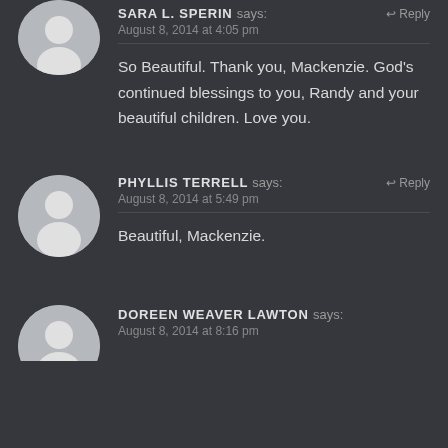[Figure (illustration): Circular avatar placeholder with silhouette for Sara L. Sperin, partially visible at top]
SARA L. SPERIN says:
August 8, 2014 at 4:05 pm
So Beautiful. Thank you, Mackenzie. God's continued blessings to you, Randy and your beautiful children. Love you.
[Figure (illustration): Circular avatar placeholder with silhouette for Phyllis Terrell]
PHYLLIS TERRELL says:
August 8, 2014 at 5:49 pm
Beautiful, Mackenzie.
[Figure (illustration): Circular avatar placeholder with silhouette for Doreen Weaver Lawton, partially visible at bottom]
DOREEN WEAVER LAWTON says:
August 8, 2014 at 8:16 pm